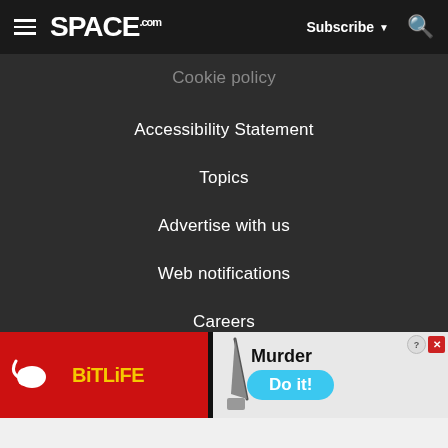SPACE.com — Subscribe — Search
Cookie policy
Accessibility Statement
Topics
Advertise with us
Web notifications
Careers
Do not sell my info
[Figure (screenshot): BitLife and Murder advertisement banner at the bottom of the page]